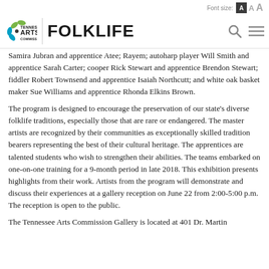Font size: A A A
[Figure (logo): Tennessee Arts Commission logo with Folklife navigation bar including search and menu icons]
Samira Jubran and apprentice Atee; Rayem; autoharp player Will Smith and apprentice Sarah Carter; cooper Rick Stewart and apprentice Brendon Stewart; fiddler Robert Townsend and apprentice Isaiah Northcutt; and white oak basket maker Sue Williams and apprentice Rhonda Elkins Brown.
The program is designed to encourage the preservation of our state's diverse folklife traditions, especially those that are rare or endangered. The master artists are recognized by their communities as exceptionally skilled tradition bearers representing the best of their cultural heritage. The apprentices are talented students who wish to strengthen their abilities. The teams embarked on one-on-one training for a 9-month period in late 2018. This exhibition presents highlights from their work. Artists from the program will demonstrate and discuss their experiences at a gallery reception on June 22 from 2:00-5:00 p.m.  The reception is open to the public.
The Tennessee Arts Commission Gallery is located at 401 Dr. Martin